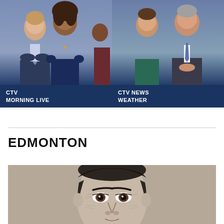[Figure (photo): CTV Morning Live promotional photo showing two news anchors on the left panel against a dark blue background]
[Figure (photo): CTV News Weather promotional photo showing two weather anchors on the right panel against a dark blue background]
CTV MORNING LIVE
CTV NEWS WEATHER
EDMONTON
[Figure (illustration): Black and white pencil sketch/composite sketch of a young male suspect's face, used in a news report related to Edmonton]